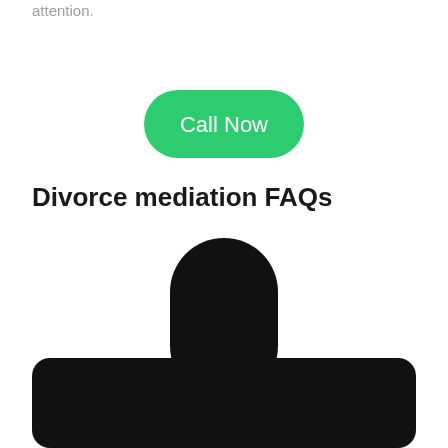attention.
[Figure (other): Green rounded button labeled 'Call Now']
Divorce mediation FAQs
[Figure (other): Black plus/cross icon shape — a vertical rectangle with rounded top and a wide horizontal rectangle at the bottom, forming a bold cross/anchor symbol]